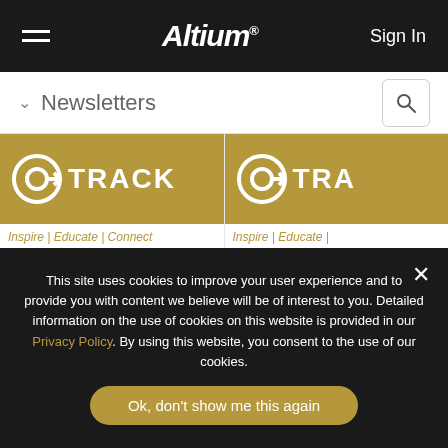Altium — Sign In
Newsletters
[Figure (screenshot): OnTrack newsletter card 1: banner with OnTrack logo on gold background, tagline 'Inspire | Educate | Connect', title 'OnTrack Newsletter: Student Hackers, Crosstalk and Design']
[Figure (screenshot): OnTrack newsletter card 2: banner with OnTrack logo on gold background (partially visible), tagline 'Inspire | Educate |', title 'OnTrack Newsletter July 2019 Vol 3. No', subtitle 'OnTrack Newsletter Ju']
This site uses cookies to improve your user experience and to provide you with content we believe will be of interest to you. Detailed information on the use of cookies on this website is provided in our Privacy Policy. By using this website, you consent to the use of our cookies.
Ok, don't show me this again